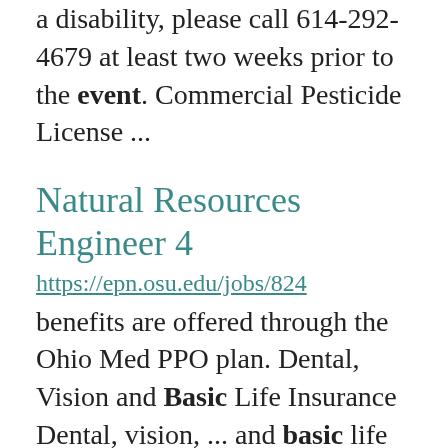a disability, please call 614-292-4679 at least two weeks prior to the event. Commercial Pesticide License ...
Natural Resources Engineer 4
https://epn.osu.edu/jobs/824
benefits are offered through the Ohio Med PPO plan. Dental, Vision and Basic Life Insurance Dental, vision, ... and basic life insurance premiums are free after complete eligibility period. Length of eligibility ...
Environmental Specialist 3 (Abandoned Mine Lands)